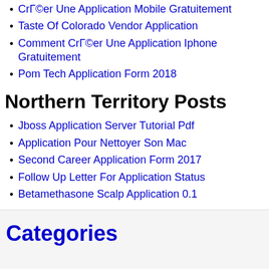CrГ©er Une Application Mobile Gratuitement
Taste Of Colorado Vendor Application
Comment CrГ©er Une Application Iphone Gratuitement
Pom Tech Application Form 2018
Northern Territory Posts
Jboss Application Server Tutorial Pdf
Application Pour Nettoyer Son Mac
Second Career Application Form 2017
Follow Up Letter For Application Status
Betamethasone Scalp Application 0.1
Categories